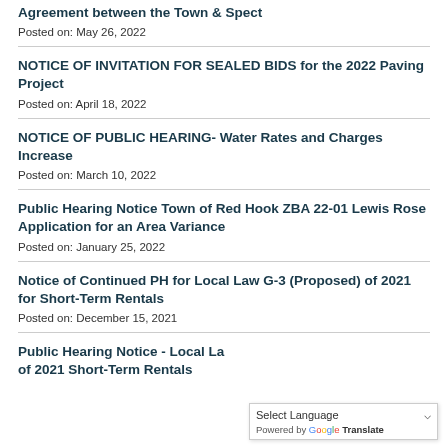Agreement between the Town & Spect
Posted on: May 26, 2022
NOTICE OF INVITATION FOR SEALED BIDS for the 2022 Paving Project
Posted on: April 18, 2022
NOTICE OF PUBLIC HEARING- Water Rates and Charges Increase
Posted on: March 10, 2022
Public Hearing Notice Town of Red Hook ZBA 22-01 Lewis Rose Application for an Area Variance
Posted on: January 25, 2022
Notice of Continued PH for Local Law G-3 (Proposed) of 2021 for Short-Term Rentals
Posted on: December 15, 2021
Public Hearing Notice - Local Law of 2021 Short-Term Rentals